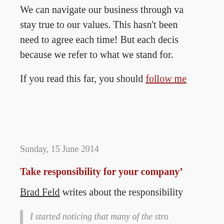We can navigate our business through va... stay true to our values. This hasn't been need to agree each time! But each decis... because we refer to what we stand for.
If you read this far, you should follow me...
Sunday, 15 June 2014
Take responsibility for your companyâ...
Brad Feld writes about the responsibility...
I started noticing that many of the stro... owned whatever was going on at thei... was simplicity in this - no blame, no e... justification. They just took ownership...
He was clear minded. He knew what... wasn't working, and what he needed...